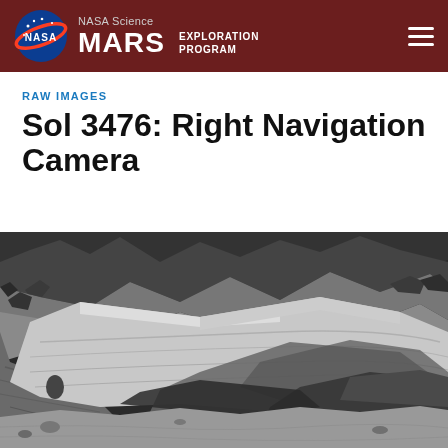NASA Science MARS EXPLORATION PROGRAM
RAW IMAGES
Sol 3476: Right Navigation Camera
[Figure (photo): Black and white raw image from Mars Curiosity rover's Right Navigation Camera showing layered Martian rock formations, rocky terrain with stratified sedimentary rock layers visible in the foreground and middle ground, sandy soil at the bottom.]